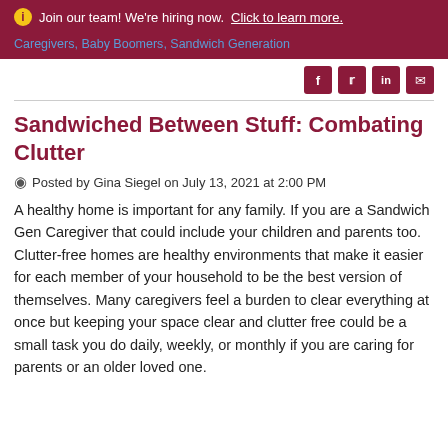ℹ Join our team! We're hiring now. Click to learn more.
Caregivers, Baby Boomers, Sandwich Generation
[Figure (other): Social media sharing icons: Facebook, Twitter, LinkedIn, Email]
Sandwiched Between Stuff: Combating Clutter
Posted by Gina Siegel on July 13, 2021 at 2:00 PM
A healthy home is important for any family. If you are a Sandwich Gen Caregiver that could include your children and parents too. Clutter-free homes are healthy environments that make it easier for each member of your household to be the best version of themselves. Many caregivers feel a burden to clear everything at once but keeping your space clear and clutter free could be a small task you do daily, weekly, or monthly if you are caring for parents or an older loved one.